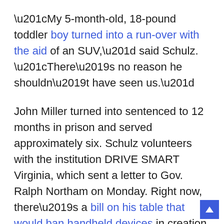“My 5-month-old, 18-pound toddler boy turned into a run-over with the aid of an SUV,” said Schulz. “There’s no reason he shouldn’t have seen us.”
John Miller turned into sentenced to 12 months in prison and served approximately six. Schulz volunteers with the institution DRIVE SMART Virginia, which sent a letter to Gov. Ralph Northam on Monday. Right now, there’s a bill on his table that would ban handheld devices in creation zones. DRIVE SMART Virginia is calling he, not most effective signal it but adds an amendment banning handheld gadgets on all Virginia roads.
Delegate Marcus Simon changed into one of the lawmakers to vote no to the invoice. However, he says if